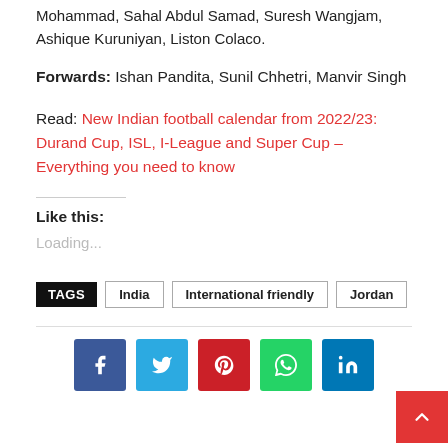Mohammad, Sahal Abdul Samad, Suresh Wangjam, Ashique Kuruniyan, Liston Colaco.
Forwards: Ishan Pandita, Sunil Chhetri, Manvir Singh
Read: New Indian football calendar from 2022/23: Durand Cup, ISL, I-League and Super Cup – Everything you need to know
Like this:
Loading...
TAGS  India  International friendly  Jordan
[Figure (other): Social sharing buttons: Facebook, Twitter, Pinterest, WhatsApp, LinkedIn. Back-to-top button (red, bottom right).]